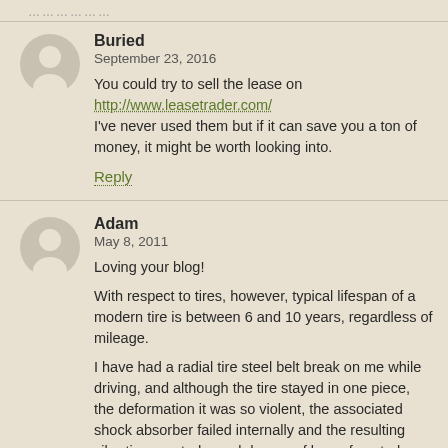………………
Buried
September 23, 2016

You could try to sell the lease on http://www.leasetrader.com/
I've never used them but if it can save you a ton of money, it might be worth looking into.

Reply
Adam
May 8, 2011

Loving your blog!

With respect to tires, however, typical lifespan of a modern tire is between 6 and 10 years, regardless of mileage.

I have had a radial tire steel belt break on me while driving, and although the tire stayed in one piece, the deformation it was so violent, the associated shock absorber failed internally and the resulting vibration created a real danger of loss of control. Thankfully it was one of the rear tires.